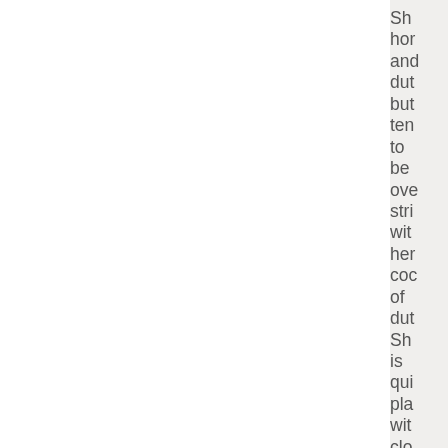Sh hor and dut but ten to be ove stri wit her coc of dut Sh is qui pla wit clo frie and sor